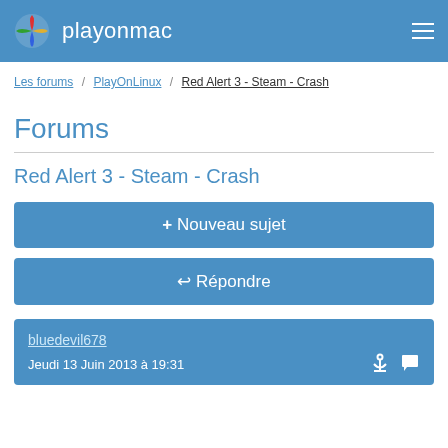playonmac
Les forums / PlayOnLinux / Red Alert 3 - Steam - Crash
Forums
Red Alert 3 - Steam - Crash
+ Nouveau sujet
↩ Répondre
bluedevil678
Jeudi 13 Juin 2013 à 19:31